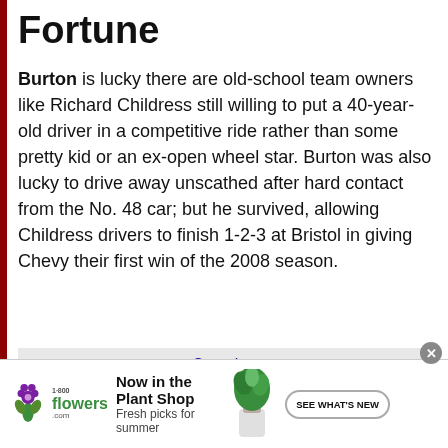Fortune
Burton is lucky there are old-school team owners like Richard Childress still willing to put a 40-year-old driver in a competitive ride rather than some pretty kid or an ex-open wheel star. Burton was also lucky to drive away unscathed after hard contact from the No. 48 car; but he survived, allowing Childress drivers to finish 1-2-3 at Bristol in giving Chevy their first win of the 2008 season.
See also
Bowles, Eye View: Jeff
[Figure (infographic): 1-800-Flowers.com advertisement banner showing logo, 'Now in the Plant Shop / Fresh picks for summer', a plant image, and a 'SEE WHAT'S NEW' button]